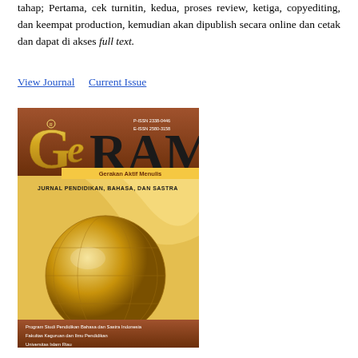tahap; Pertama, cek turnitin, kedua, proses review, ketiga, copyediting, dan keempat production, kemudian akan dipublish secara online dan cetak dan dapat di akses full text.
View Journal   Current Issue
[Figure (illustration): Journal cover of GERAM (Gerakan Aktif Menulis) - Jurnal Pendidikan, Bahasa, dan Sastra. Gold and brown color scheme with globe graphic. Published by Program Studi Pendidikan Bahasa dan Sastra Indonesia, Fakultas Keguruan dan Ilmu Pendidikan, Universitas Islam Riau. P-ISSN 2338-0446, E-ISSN 2580-3158.]